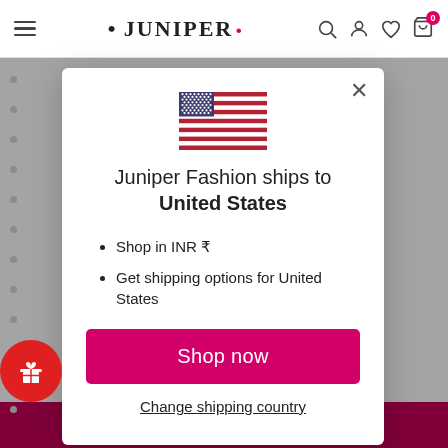[Figure (screenshot): Juniper Fashion website top navigation bar with hamburger menu, logo, search, account, wishlist, and cart icons]
[Figure (illustration): United States flag SVG illustration]
Juniper Fashion ships to United States
Shop in INR ₹
Get shipping options for United States
Shop now
Change shipping country
ADD TO CART